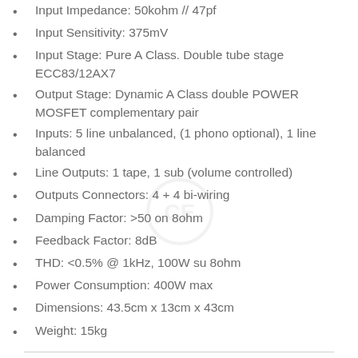Input Impedance: 50kohm // 47pf
Input Sensitivity: 375mV
Input Stage: Pure A Class. Double tube stage ECC83/12AX7
Output Stage: Dynamic A Class double POWER MOSFET complementary pair
Inputs: 5 line unbalanced, (1 phono optional), 1 line balanced
Line Outputs: 1 tape, 1 sub (volume controlled)
Outputs Connectors: 4 + 4 bi-wiring
Damping Factor: >50 on 8ohm
Feedback Factor: 8dB
THD: <0.5% @ 1kHz, 100W su 8ohm
Power Consumption: 400W max
Dimensions: 43.5cm x 13cm x 43cm
Weight: 15kg
Read Less